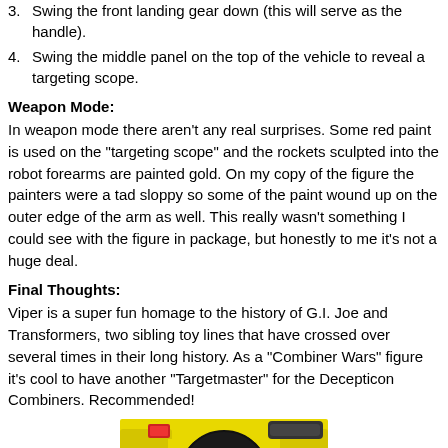3. Swing the front landing gear down (this will serve as the handle).
4. Swing the middle panel on the top of the vehicle to reveal a targeting scope.
Weapon Mode:
In weapon mode there aren't any real surprises. Some red paint is used on the "targeting scope" and the rockets sculpted into the robot forearms are painted gold. On my copy of the figure the painters were a tad sloppy so some of the paint wound up on the outer edge of the arm as well. This really wasn't something I could see with the figure in package, but honestly to me it's not a huge deal.
Final Thoughts:
Viper is a super fun homage to the history of G.I. Joe and Transformers, two sibling toy lines that have crossed over several times in their long history. As a "Combiner Wars" figure it's cool to have another "Targetmaster" for the Decepticon Combiners. Recommended!
[Figure (illustration): Close-up illustration of a robot/transformer figure with yellow armor, a dark helmet/visor, and blue eye lenses, with a red accent visible. Cartoon comic-book style artwork.]